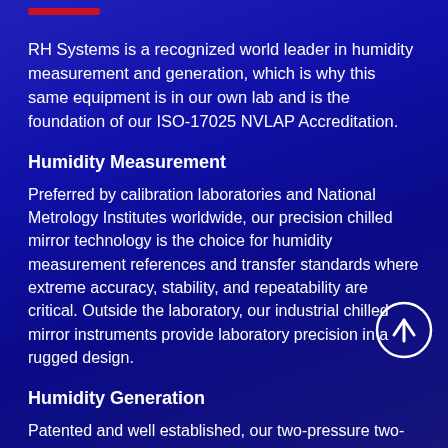RH Systems is a recognized world leader in humidity measurement and generation, which is why this same equipment is in our own lab and is the foundation of our ISO-17025 NVLAP Accreditation.
Humidity Measurement
Preferred by calibration laboratories and National Metrology Institutes worldwide, our precision chilled mirror technology is the choice for humidity measurement references and transfer standards where extreme accuracy, stability, and repeatability are critical. Outside the laboratory, our industrial chilled mirror instruments provide laboratory precision in a rugged design.
Humidity Generation
Patented and well established, our two-pressure two-temperature generators are